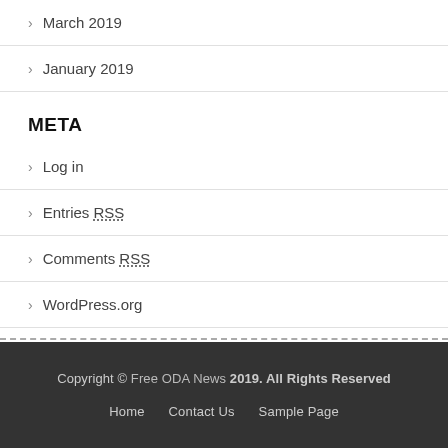March 2019
January 2019
META
Log in
Entries RSS
Comments RSS
WordPress.org
Copyright © Free ODA News 2019. All Rights Reserved
Home   Contact Us   Sample Page